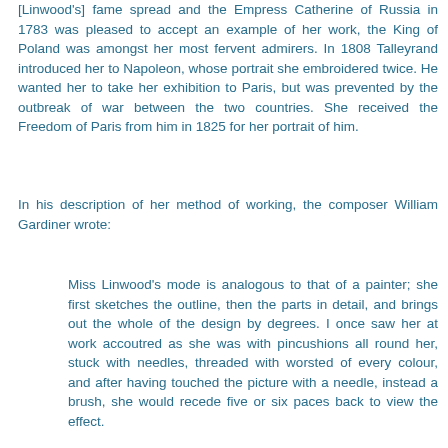[Linwood's] fame spread and the Empress Catherine of Russia in 1783 was pleased to accept an example of her work, the King of Poland was amongst her most fervent admirers. In 1808 Talleyrand introduced her to Napoleon, whose portrait she embroidered twice. He wanted her to take her exhibition to Paris, but was prevented by the outbreak of war between the two countries. She received the Freedom of Paris from him in 1825 for her portrait of him.
In his description of her method of working, the composer William Gardiner wrote:
Miss Linwood's mode is analogous to that of a painter; she first sketches the outline, then the parts in detail, and brings out the whole of the design by degrees. I once saw her at work accoutred as she was with pincushions all round her, stuck with needles, threaded with worsted of every colour, and after having touched the picture with a needle, instead a brush, she would recede five or six paces back to view the effect.